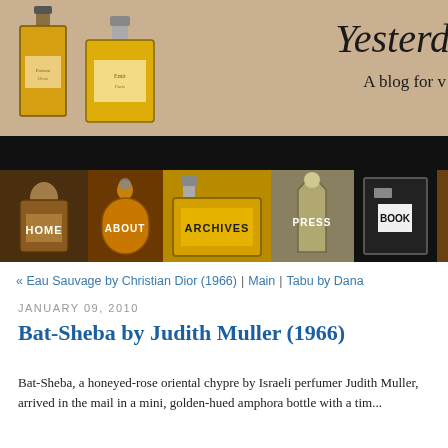[Figure (illustration): Website banner header for a vintage perfume blog showing two illustrated perfume bottles on a beige/tan background with the text 'Yesterd...' in italic serif font and 'A blog for v...' subtitle. Bottom portion is black.]
[Figure (illustration): Navigation bar with five perfume bottle images labeled HOME, ABOUT, ARCHIVES, PRESS, BOOK on dark backgrounds]
« Eau Sauvage by Christian Dior (1966) | Main | Tabu by Dana
JANUARY 09, 2010
Bat-Sheba by Judith Muller (1966)
Bat-Sheba, a honeyed-rose oriental chypre by Israeli perfumer Judith Muller, arrived in the mail in a mini, golden-hued amphora bottle with a tim...